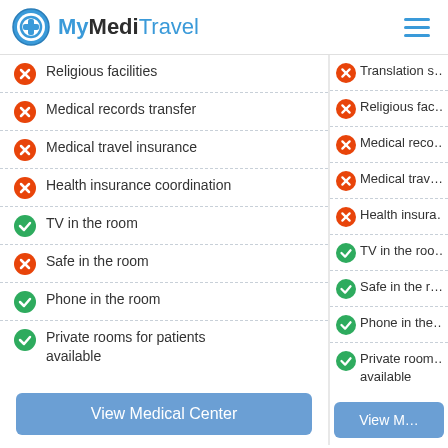MyMediTravel
Religious facilities
Medical records transfer
Medical travel insurance
Health insurance coordination
TV in the room
Safe in the room
Phone in the room
Private rooms for patients available
View Medical Center